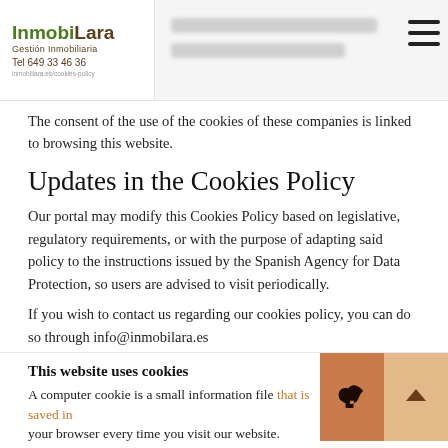InmobiLara Gestión Inmobiliaria Tel 649 33 46 36 [navigation header with blurred text and hamburger menu]
The consent of the use of the cookies of these companies is linked to browsing this website.
Updates in the Cookies Policy
Our portal may modify this Cookies Policy based on legislative, regulatory requirements, or with the purpose of adapting said policy to the instructions issued by the Spanish Agency for Data Protection, so users are advised to visit periodically.
If you wish to contact us regarding our cookies policy, you can do so through info@inmobilara.es
This website uses cookies
A computer cookie is a small information file that is saved in your browser every time you visit our website.